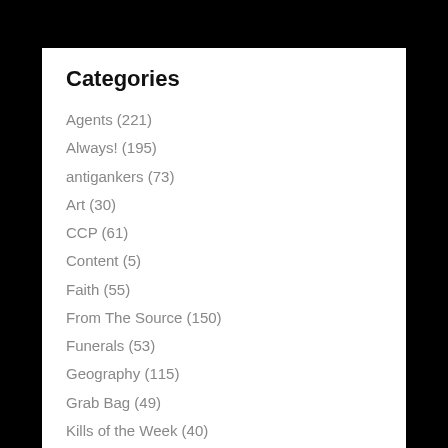Categories
Agents (221)
Always! (195)
antigankers (73)
Art (30)
CCP (61)
Content (5)
Faith (55)
From The Source (150)
Funerals (53)
Geography (115)
Grab Bag (49)
Kills of the Week (40)
revenge (11)
Sales (127)
Sex (110)